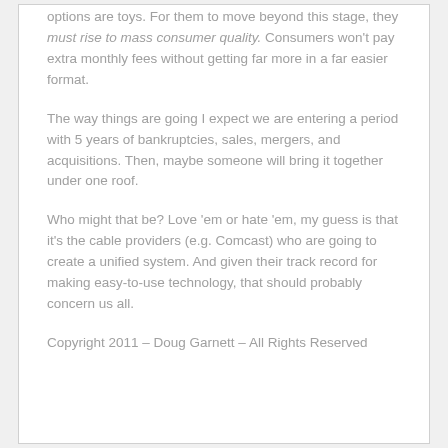options are toys. For them to move beyond this stage, they must rise to mass consumer quality. Consumers won't pay extra monthly fees without getting far more in a far easier format.
The way things are going I expect we are entering a period with 5 years of bankruptcies, sales, mergers, and acquisitions. Then, maybe someone will bring it together under one roof.
Who might that be? Love 'em or hate 'em, my guess is that it's the cable providers (e.g. Comcast) who are going to create a unified system. And given their track record for making easy-to-use technology, that should probably concern us all.
Copyright 2011 – Doug Garnett – All Rights Reserved